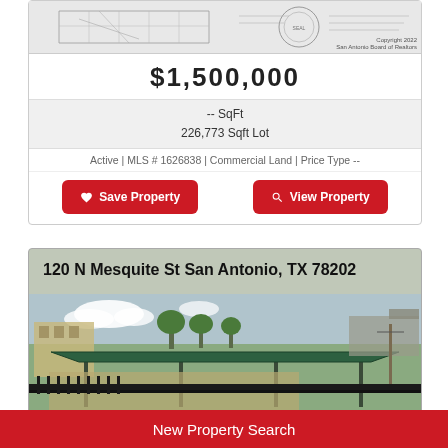[Figure (map): Small map/plat diagram of property with copyright notice: Copyright 2022, San Antonio Board of Realtors]
$1,500,000
-- SqFt
226,773 Sqft Lot
Active | MLS # 1626838 | Commercial Land | Price Type --
Save Property
View Property
120 N Mesquite St San Antonio, TX 78202
[Figure (photo): Exterior photo of commercial property at 120 N Mesquite St San Antonio TX 78202, showing a green metal canopy/carport structure with black iron fence]
New Property Search